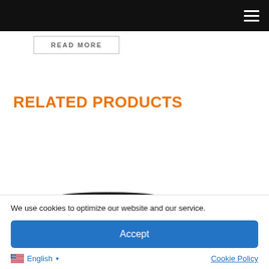READ MORE
RELATED PRODUCTS
[Figure (photo): A black speaker grille or audio device component, partially visible, curved trapezoidal shape]
We use cookies to optimize our website and our service.
Accept
English ▾
Cookie Policy